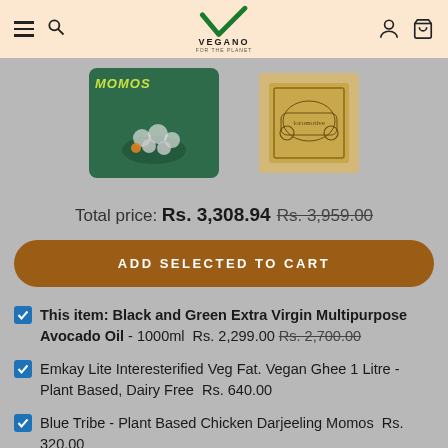Vegano - For the Planet
[Figure (photo): Two product images: a green packaged Momos product on the left and a beige/brown packaged product with a train illustration on the right, shown against a grey background.]
Total price: Rs. 3,308.94  Rs. 3,959.00
ADD SELECTED TO CART
This item: Black and Green Extra Virgin Multipurpose Avocado Oil - 1000ml  Rs. 2,299.00  Rs. 2,700.00
Emkay Lite Interesterified Veg Fat. Vegan Ghee 1 Litre - Plant Based, Dairy Free  Rs. 640.00
Blue Tribe - Plant Based Chicken Darjeeling Momos  Rs. 320.00